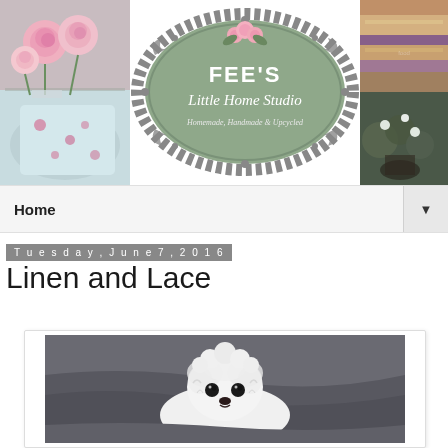[Figure (illustration): Blog header banner with three sections: left shows pink roses and floral fabric on a tray, center shows Fee's Little Home Studio logo (oval emblem with roses, text 'FEE'S Little Home Studio, Homemade, Handmade & Upcycled'), right shows two stacked images of food and flowers/greenery]
Home ▼
Tuesday, June 7, 2016
Linen and Lace
[Figure (photo): A small white fluffy dog (maltese or similar breed) with dark eyes, lying among grey/dark bedding, looking at the camera]